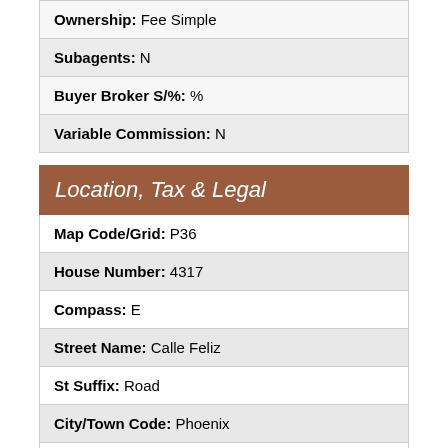| Ownership: Fee Simple |
| Subagents: N |
| Buyer Broker S/%: % |
| Variable Commission: N |
Location, Tax & Legal
| Map Code/Grid: P36 |
| House Number: 4317 |
| Compass: E |
| Street Name: Calle Feliz |
| St Suffix: Road |
| City/Town Code: Phoenix |
| State/Province: AZ |
| Zip Code: 85018 |